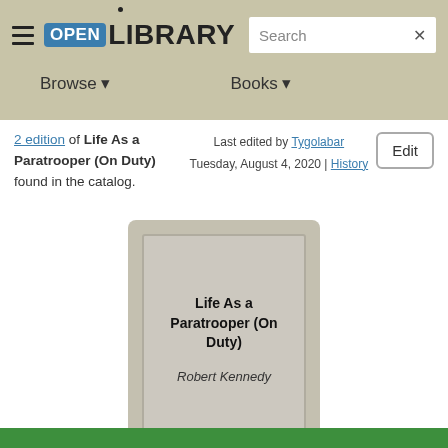Open Library — Browse | Books
2 edition of Life As a Paratrooper (On Duty) found in the catalog.
Last edited by Tygolabar
Tuesday, August 4, 2020 | History
[Figure (illustration): Book cover placeholder showing title 'Life As a Paratrooper (On Duty)' and author 'Robert Kennedy' on a grey background]